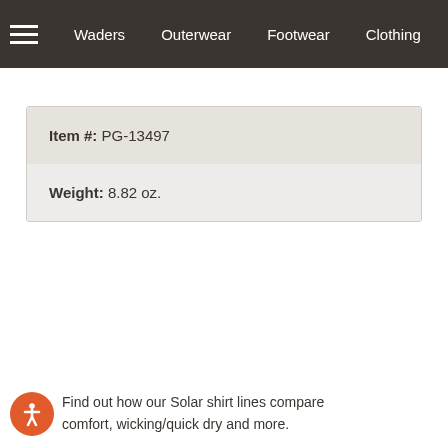Waders  Outerwear  Footwear  Clothing  Pa
| Item #: | PG-13497 |
| Weight: | 8.82 oz. |
Find out how our Solar shirt lines compare comfort, wicking/quick dry and more.